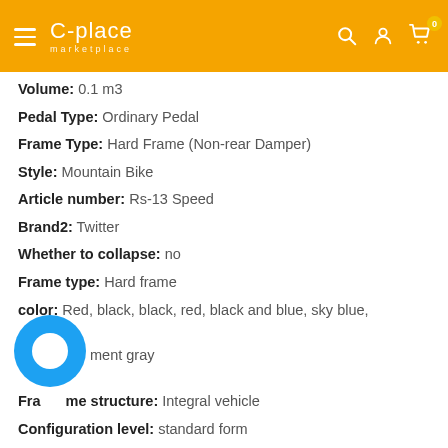C-place marketplace
Volume: 0.1 m3
Pedal Type: Ordinary Pedal
Frame Type: Hard Frame (Non-rear Damper)
Style: Mountain Bike
Article number: Rs-13 Speed
Brand2: Twitter
Whether to collapse: no
Frame type: Hard frame
color: Red, black, black, red, black and blue, sky blue, green, cement gray
Frame structure: Integral vehicle
Configuration level: standard form